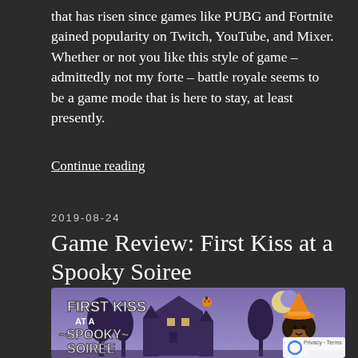that has risen since games like PUBG and Fortnite gained popularity on Twitch, YouTube, and Mixer. Whether or not you like this style of game – admittedly not my forte – battle royale seems to be a game mode that is here to stay, at least presently.
Continue reading
2019-08-24
Game Review: First Kiss at a Spooky Soiree
[Figure (illustration): Promotional illustration for 'First Kiss at a Spooky Soiree' game. Purple/lavender background with a haunted mansion and trees. White hand-drawn title text reads 'FIRST KISS AT A ~SPOOKY~ SOIREE' with a small pumpkin. A cartoon girl character with brown skin, dark curly hair, and an orange witch hat stands to the right.]